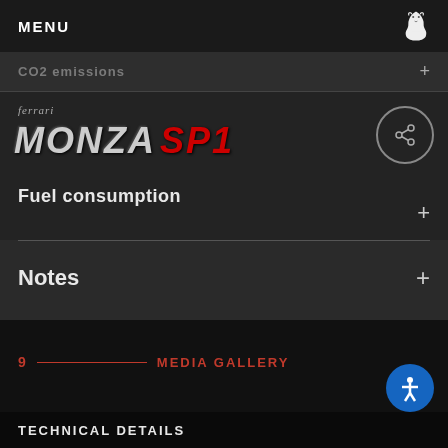MENU
CO2 emissions +
Ferrari MONZA SP1 Fuel consumption
Notes +
9 MEDIA GALLERY
TECHNICAL DETAILS